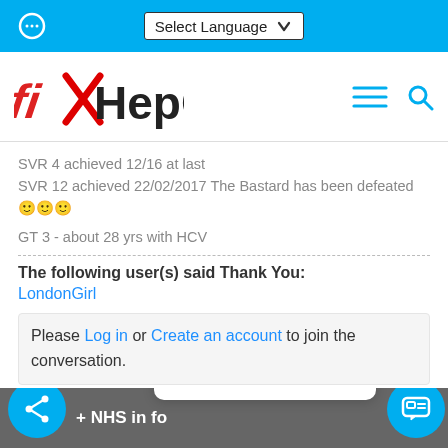Select Language
[Figure (logo): fixHepC logo — stylized text with red X mark through the letter x]
SVR 4 achieved 12/16 at last
SVR 12 achieved 22/02/2017 The Bastard has been defeated 🙂🙂🙂
GT 3 - about 28 yrs with HCV
The following user(s) said Thank You:
LondonGirl
Please Log in or Create an account to join the conversation.
NHS in fo   We're Online! How may I help you today?